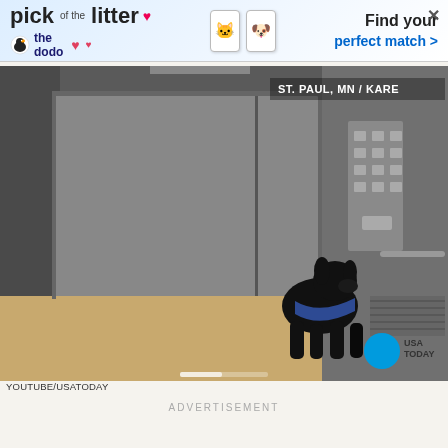[Figure (screenshot): Advertisement banner: 'pick of the litter' from The Dodo with pet photos on phone cards and 'Find your perfect match >' text]
[Figure (screenshot): Video still from YouTube/USATODAY showing a black dog near elevator doors in a hallway. Text overlay reads 'ST. PAUL, MN / KARE' in top right, USA TODAY logo in bottom right corner.]
YOUTUBE/USATODAY
ADVERTISEMENT